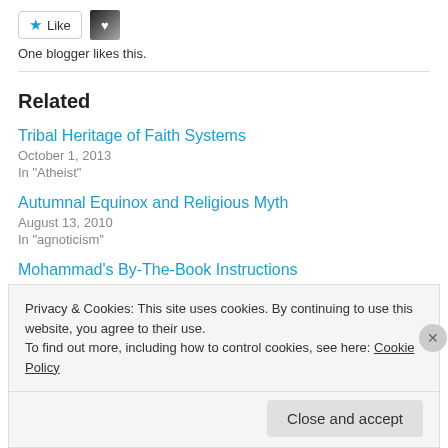[Figure (other): Like button with star icon and a blogger avatar thumbnail]
One blogger likes this.
Related
Tribal Heritage of Faith Systems
October 1, 2013
In "Atheist"
Autumnal Equinox and Religious Myth
August 13, 2010
In "agnoticism"
Mohammad's By-The-Book Instructions
Privacy & Cookies: This site uses cookies. By continuing to use this website, you agree to their use.
To find out more, including how to control cookies, see here: Cookie Policy
Close and accept